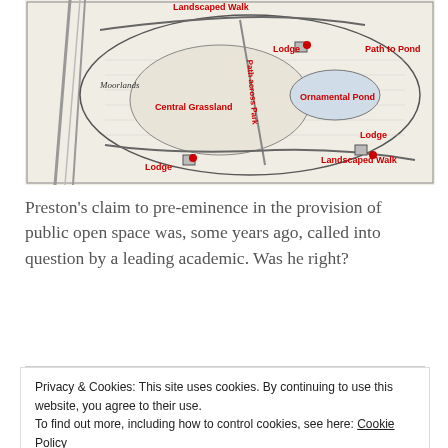[Figure (map): Old map/plan of a park area with red text labels: Landscaped Walk (top), Lodge (upper middle), Path to Pond (upper right), Moorlands (left), Central Grassland (center-left), Ornamental Pond (center-right), Path across Park (diagonal, vertical text), Lodge (lower-left), Lodge (lower-right), Landscaped Walk (lower-right). Red dots mark key locations.]
Preston's claim to pre-eminence in the provision of public open space was, some years ago, called into question by a leading academic. Was he right?
Privacy & Cookies: This site uses cookies. By continuing to use this website, you agree to their use.
To find out more, including how to control cookies, see here: Cookie Policy